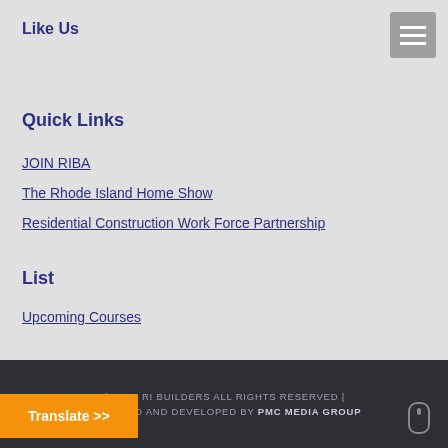Like Us
Quick Links
JOIN RIBA
The Rhode Island Home Show
Residential Construction Work Force Partnership
List
Upcoming Courses
© 2020 RI BUILDERS ALL RIGHTS RESERVED | DESIGNED AND DEVELOPED BY PMC MEDIA GROUP